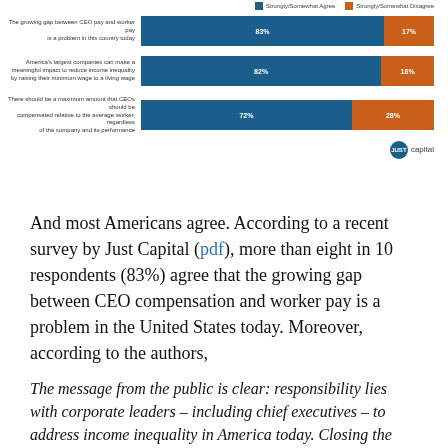[Figure (stacked-bar-chart): Survey: Americans on CEO pay and income inequality]
And most Americans agree. According to a recent survey by Just Capital (pdf), more than eight in 10 respondents (83%) agree that the growing gap between CEO compensation and worker pay is a problem in the United States today. Moreover, according to the authors,
The message from the public is clear: responsibility lies with corporate leaders – including chief executives – to address income inequality in America today. Closing the